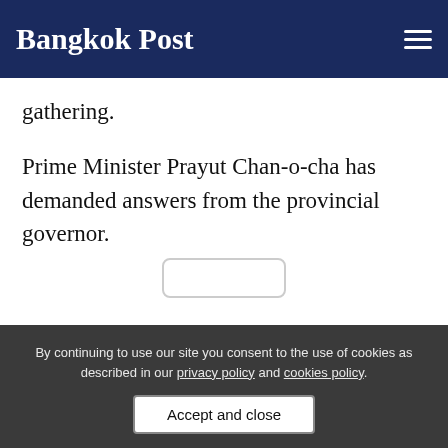Bangkok Post
gathering.
Prime Minister Prayut Chan-o-cha has demanded answers from the provincial governor.
By continuing to use our site you consent to the use of cookies as described in our privacy policy and cookies policy.
Accept and close